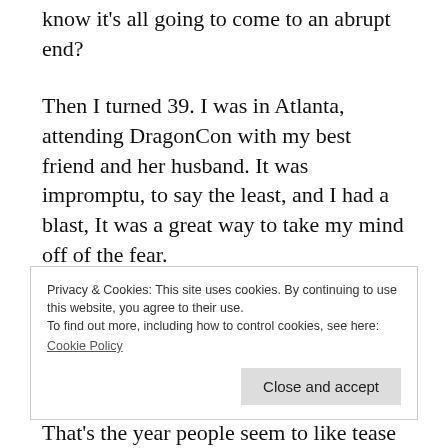know it’s all going to come to an abrupt end?
Then I turned 39. I was in Atlanta, attending DragonCon with my best friend and her husband. It was impromptu, to say the least, and I had a blast, It was a great way to take my mind off of the fear.
But it didn’t go away.
Privacy & Cookies: This site uses cookies. By continuing to use this website, you agree to their use.
To find out more, including how to control cookies, see here:
Cookie Policy
Close and accept
That’s the year people seem to like tease